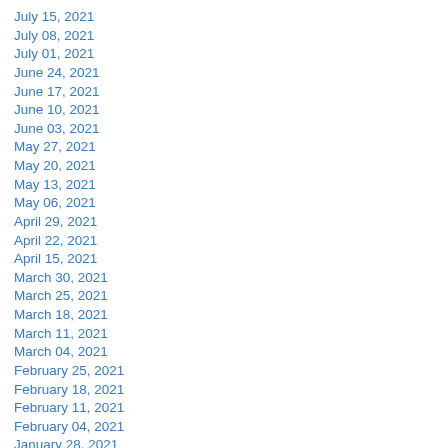July 15, 2021
July 08, 2021
July 01, 2021
June 24, 2021
June 17, 2021
June 10, 2021
June 03, 2021
May 27, 2021
May 20, 2021
May 13, 2021
May 06, 2021
April 29, 2021
April 22, 2021
April 15, 2021
March 30, 2021
March 25, 2021
March 18, 2021
March 11, 2021
March 04, 2021
February 25, 2021
February 18, 2021
February 11, 2021
February 04, 2021
January 28, 2021